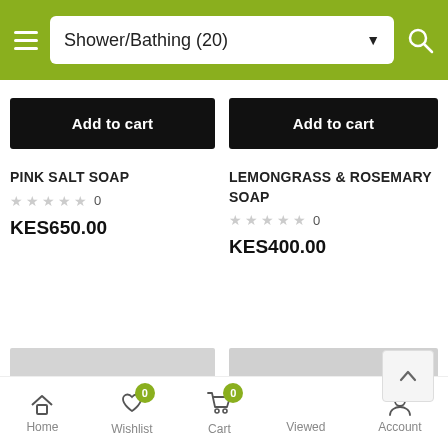Shower/Bathing (20)
Add to cart
PINK SALT SOAP
★★★★★ 0
KES650.00
Add to cart
LEMONGRASS & ROSEMARY SOAP
★★★★★ 0
KES400.00
[Figure (photo): Partial view of a light-colored soap bar against a grey background]
[Figure (photo): Partial view of a dark reddish-brown soap bar against a grey background]
Home  Wishlist (0)  Cart (0)  Viewed  Account